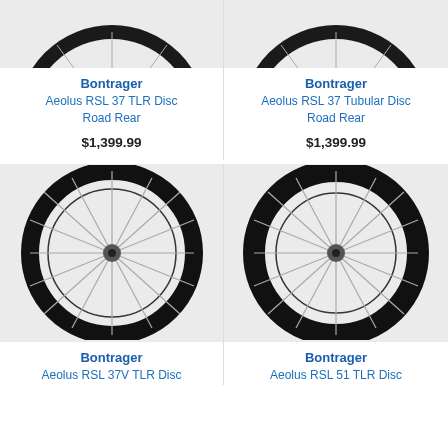[Figure (photo): Bontrager Aeolus RSL 37 TLR Disc Road Rear wheel, top portion visible]
[Figure (photo): Bontrager Aeolus RSL 37 Tubular Disc Road Rear wheel, top portion visible]
Bontrager
Aeolus RSL 37 TLR Disc Road Rear
$1,399.99
Bontrager
Aeolus RSL 37 Tubular Disc Road Rear
$1,399.99
[Figure (photo): Bontrager Aeolus RSL 37V TLR Disc wheel, full view]
[Figure (photo): Bontrager Aeolus RSL 51 TLR Disc wheel, full view]
Bontrager
Aeolus RSL 37V TLR Disc
Bontrager
Aeolus RSL 51 TLR Disc